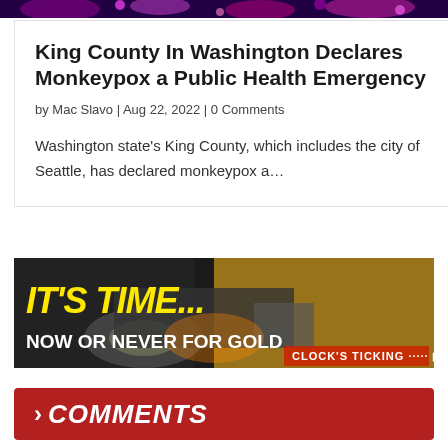[Figure (photo): Colorful purple and pink decorative image strip at the top of the page]
King County In Washington Declares Monkeypox a Public Health Emergency
by Mac Slavo | Aug 22, 2022 | 0 Comments
Washington state’s King County, which includes the city of Seattle, has declared monkeypox a…
[Figure (photo): Advertisement banner with dark background, yellow text reading IT'S TIME... and white text reading NOW OR NEVER FOR GOLD, with CLOCK'S TICKING on the right side]
> COMMENTS